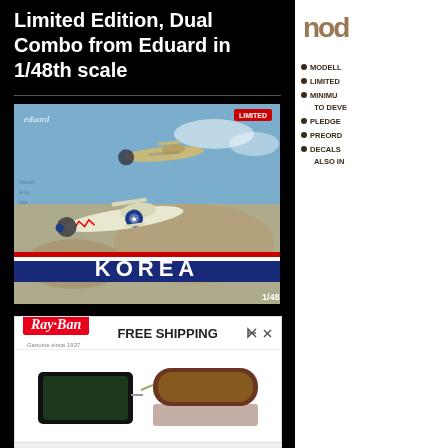Limited Edition, Dual Combo from Eduard in 1/48th scale
[Figure (photo): Eduard model kit box art showing Korean War era fighter planes (P-51 Mustangs) with 'KOREA' banner and '1/48' scale label]
[Figure (photo): Ray-Ban advertisement showing two pairs of sunglasses with 'FREE SHIPPING' text and Ray-Ban logo]
MODELL...
LIMITED...
MINIMU... TO DEVE...
PLEDGE...
PREORD...
DECALS... ALSO IN...
PRODUCT SUITA... CEMENT AND P... READY TO ASSE...